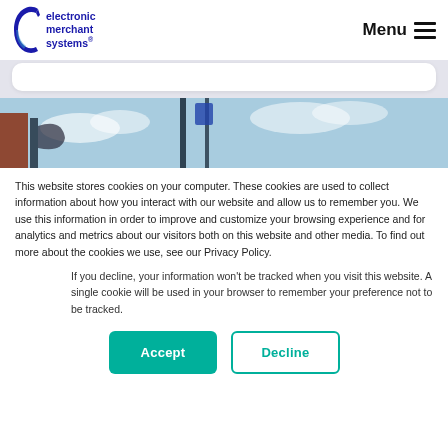[Figure (logo): Electronic Merchant Systems logo with blue crescent/C shape and blue text reading 'electronic merchant systems']
Menu ≡
[Figure (photo): Partial photo of outdoor payment terminal or kiosk with blue sky in background]
This website stores cookies on your computer. These cookies are used to collect information about how you interact with our website and allow us to remember you. We use this information in order to improve and customize your browsing experience and for analytics and metrics about our visitors both on this website and other media. To find out more about the cookies we use, see our Privacy Policy.
If you decline, your information won't be tracked when you visit this website. A single cookie will be used in your browser to remember your preference not to be tracked.
[Figure (other): Accept button (green filled) and Decline button (teal outline)]